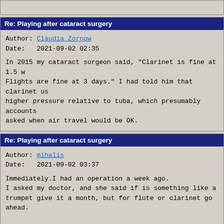Re: Playing after cataract surgery
Author: Claudia Zornow
Date:   2021-09-02 02:35

In 2015 my cataract surgeon said, "Clarinet is fine at 1.5 w
Flights are fine at 3 days." I had told him that clarinet us
higher pressure relative to tuba, which presumably accounts
asked when air travel would be OK.
Re: Playing after cataract surgery
Author: mihalis
Date:   2021-09-02 03:37

Immediately.I had an operation a week ago.
I asked my doctor, and she said if is something like a
trumpet give it a month, but for flute or clarinet go ahead.

Mike.
Re: Playing after cataract surgery
Author: Judit... 2017...